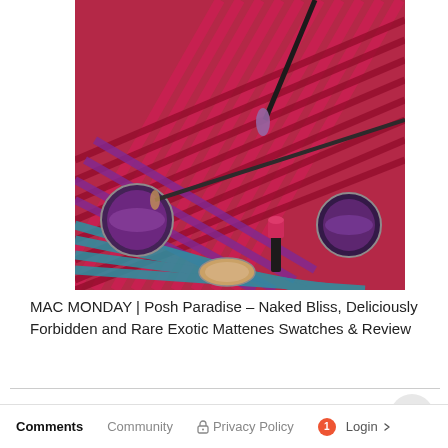[Figure (photo): Overhead photo of makeup products (eyeshadow pots, lipstick, brushes) arranged on bright red/pink painted tropical palm fronds with blue and purple accents.]
MAC MONDAY | Posh Paradise – Naked Bliss, Deliciously Forbidden and Rare Exotic Mattenes Swatches & Review
Comments  Community  Privacy Policy  1  Login